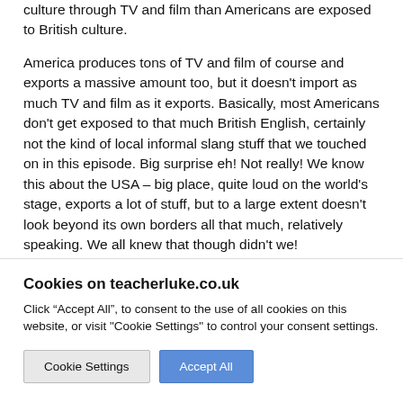culture through TV and film than Americans are exposed to British culture.
America produces tons of TV and film of course and exports a massive amount too, but it doesn't import as much TV and film as it exports. Basically, most Americans don't get exposed to that much British English, certainly not the kind of local informal slang stuff that we touched on in this episode. Big surprise eh! Not really! We know this about the USA – big place, quite loud on the world's stage, exports a lot of stuff, but to a large extent doesn't look beyond its own borders all that much, relatively speaking. We all knew that though didn't we!
Cookies on teacherluke.co.uk
Click “Accept All”, to consent to the use of all cookies on this website, or visit "Cookie Settings" to control your consent settings.